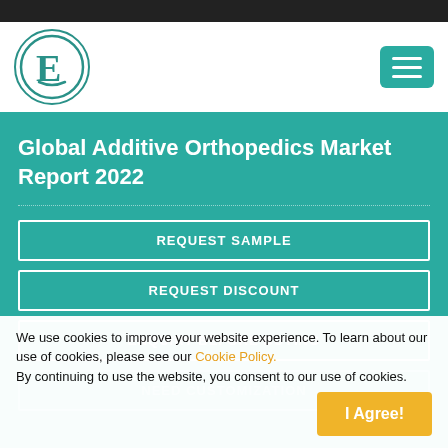[Figure (logo): Circular logo with teal border and letter E with arrow design inside, on white background]
Global Additive Orthopedics Market Report 2022
REQUEST SAMPLE
REQUEST DISCOUNT
ENQUIRY BEFORE BUYING
NEED CUSTOMIZATION
We use cookies to improve your website experience. To learn about our use of cookies, please see our Cookie Policy. By continuing to use the website, you consent to our use of cookies.
I Agree!